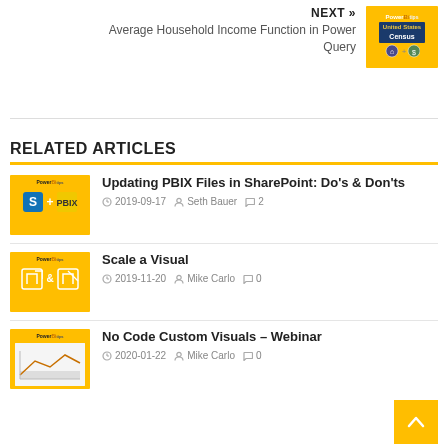NEXT »
Average Household Income Function in Power Query
[Figure (illustration): PowerBI Tips thumbnail with US Census logo on yellow background]
RELATED ARTICLES
Updating PBIX Files in SharePoint: Do's & Don'ts
2019-09-17  Seth Bauer  2
[Figure (illustration): PowerBI Tips thumbnail with SharePoint and PBIX icons on yellow background]
Scale a Visual
2019-11-20  Mike Carlo  0
[Figure (illustration): PowerBI Tips thumbnail with scale icons on yellow background]
No Code Custom Visuals – Webinar
2020-01-22  Mike Carlo  0
[Figure (illustration): PowerBI Tips thumbnail with chart screenshot on yellow background]